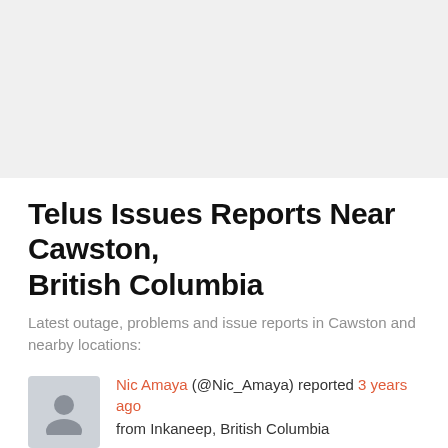[Figure (other): Gray placeholder image area at the top of the page]
Telus Issues Reports Near Cawston, British Columbia
Latest outage, problems and issue reports in Cawston and nearby locations:
Nic Amaya (@Nic_Amaya) reported 3 years ago from Inkaneep, British Columbia @asisports Completely inconceivable!!! Time to move to #shaw because @TELUS can't even fix their own